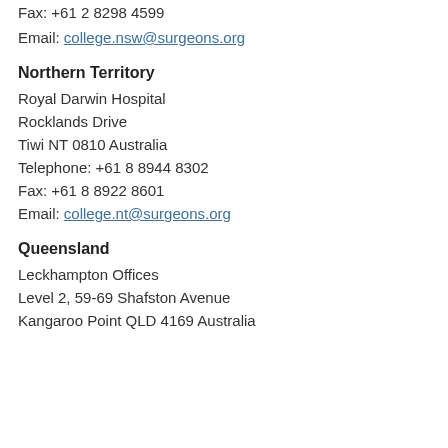Fax: +61 2 8298 4599
Email: college.nsw@surgeons.org
Northern Territory
Royal Darwin Hospital
Rocklands Drive
Tiwi NT 0810 Australia
Telephone: +61 8 8944 8302
Fax: +61 8 8922 8601
Email: college.nt@surgeons.org
Queensland
Leckhampton Offices
Level 2, 59-69 Shafston Avenue
Kangaroo Point QLD 4169 Australia